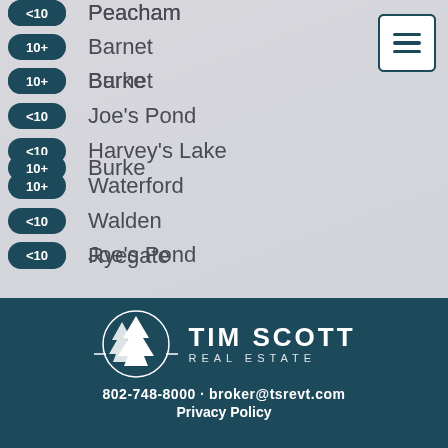<10 Peacham
10+ Barnet
10+ Burke
<10 Joe's Pond
<10 Harvey's Lake
10+ Waterford
<10 Walden
<10 Ryegate
[Figure (logo): Tim Scott Real Estate logo with pine trees silhouette inside a circle, text TIM SCOTT REAL ESTATE]
802-748-8000 · broker@tsrevt.com
Privacy Policy